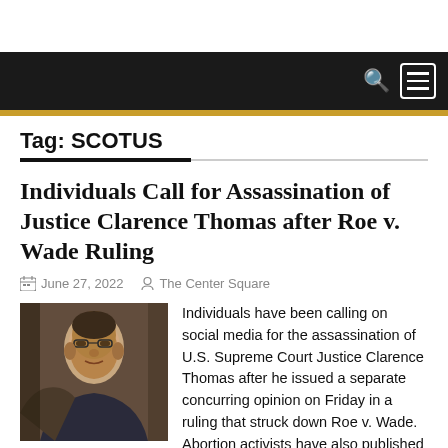Tag: SCOTUS
Individuals Call for Assassination of Justice Clarence Thomas after Roe v. Wade Ruling
June 27, 2022   The Center Square
[Figure (photo): Photo of Justice Clarence Thomas]
Individuals have been calling on social media for the assassination of U.S. Supreme Court Justice Clarence Thomas after he issued a separate concurring opinion on Friday in a ruling that struck down Roe v. Wade. Abortion activists have also published his home address, and others have called to burn down the